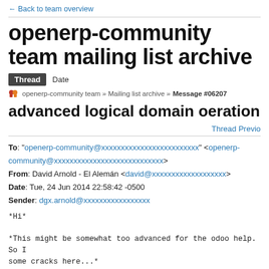← Back to team overview
openerp-community team mailing list archive
Thread   Date
openerp-community team » Mailing list archive » Message #06207
advanced logical domain oeration
Thread Previo
To: "openerp-community@xxxxxxxxxxxxxxxxxxxxxxxxx" <openerp-community@xxxxxxxxxxxxxxxxxxxxxxxxxxxx>
From: David Arnold - El Alemán <david@xxxxxxxxxxxxxxxxxxx>
Date: Tue, 24 Jun 2014 22:58:42 -0500
Sender: dgx.arnold@xxxxxxxxxxxxxxxxx
*Hi*

*This might be somewhat too advanced for the odoo help. So I some cracks here...*